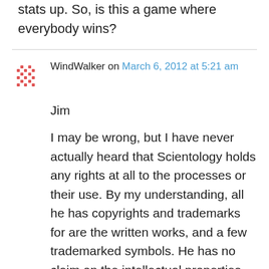stats up. So, is this a game where everybody wins?
WindWalker on March 6, 2012 at 5:21 am
Jim

I may be wrong, but I have never actually heard that Scientology holds any rights at all to the processes or their use. By my understanding, all he has copyrights and trademarks for are the written works, and a few trademarked symbols. He has no claim on the intellectual properties, and that would include all of the useable parts of Scientology. You just need RTCs permission to COPY the documents or use certain symbols.